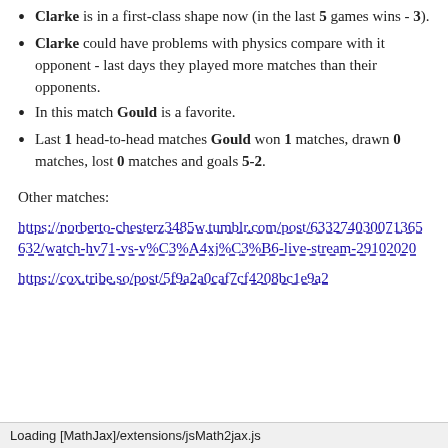Clarke is in a first-class shape now (in the last 5 games wins - 3).
Clarke could have problems with physics compare with it opponent - last days they played more matches than their opponents.
In this match Gould is a favorite.
Last 1 head-to-head matches Gould won 1 matches, drawn 0 matches, lost 0 matches and goals 5-2.
Other matches:
https://norberto-chesterz3485w.tumblr.com/post/633274030071365632/watch-hv71-vs-v%C3%A4xj%C3%B6-live-stream-29102020
https://cox.tribe.so/post/5f9a2a0caf7cf4208bc1e9a2
Loading [MathJax]/extensions/jsMath2jax.js